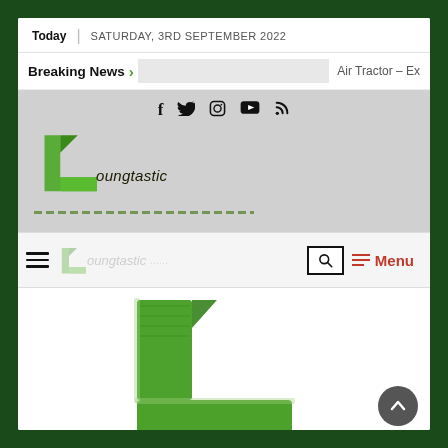Today | SATURDAY, 3RD SEPTEMBER 2022
Breaking News > Air Tractor – Ex
[Figure (logo): Loungtastic website logo – stylized green L shape with cursive 'loungtastic' text, social media icons (f, Twitter bird, Instagram, YouTube, RSS) above]
[Figure (screenshot): Navigation bar with hamburger menu, faded Loungtastic logo, search icon button, and red Menu button]
[Figure (logo): Large Loungtastic green L logo on white background with up-arrow scroll-to-top button]